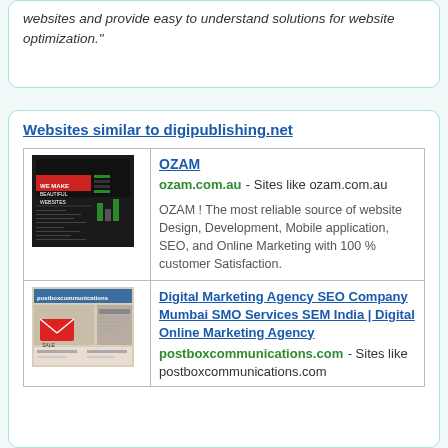websites and provide easy to understand solutions for website optimization."
Websites similar to digipublishing.net
| Image | Site Info |
| --- | --- |
| [OZAM website screenshot] | OZAM
ozam.com.au - Sites like ozam.com.au
OZAM ! The most reliable source of website Design, Development, Mobile application, SEO, and Online Marketing with 100 % customer Satisfaction. |
| [postboxcommunications website screenshot] | Digital Marketing Agency SEO Company Mumbai SMO Services SEM India | Digital Online Marketing Agency
postboxcommunications.com - Sites like postboxcommunications.com |